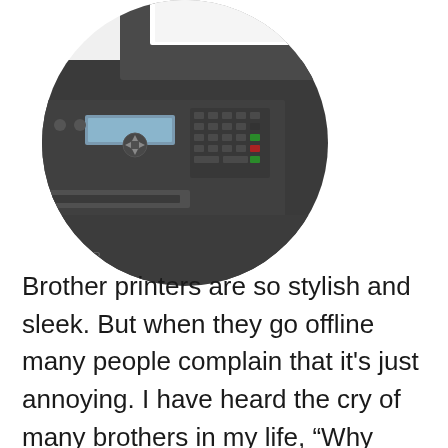[Figure (photo): Close-up circular cropped photo of a Brother multifunction laser printer showing the control panel with buttons, LCD display, and paper tray on a white background.]
Brother printers are so stylish and sleek. But when they go offline many people complain that it's just annoying. I have heard the cry of many brothers in my life, “Why can’t you just stay online!” If you